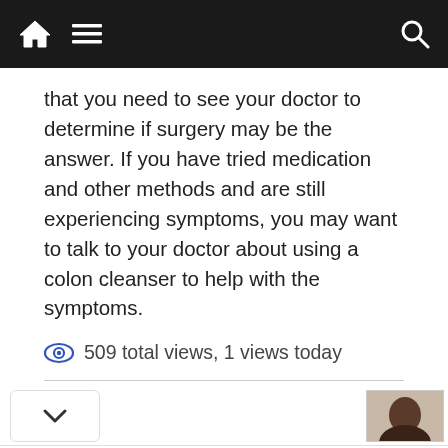Navigation bar with home, menu, and search icons
that you need to see your doctor to determine if surgery may be the answer. If you have tried medication and other methods and are still experiencing symptoms, you may want to talk to your doctor about using a colon cleanser to help with the symptoms.
509 total views,  1 views today
[Figure (screenshot): Bottom navigation strip with chevron button and author profile thumbnail]
[Figure (infographic): Advertisement banner: HC logo, text 'View store hours, get directions, or call your salon!' with blue arrow icon]